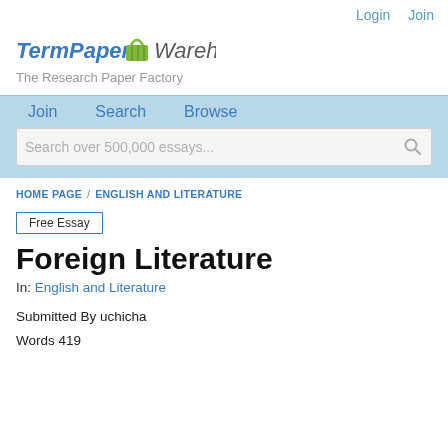Login   Join
[Figure (logo): TermPaper Warehouse logo with green basket icon]
The Research Paper Factory
Join   Search   Browse
Search over 500,000 essays...
HOME PAGE / ENGLISH AND LITERATURE
Free Essay
Foreign Literature
In: English and Literature
Submitted By uchicha
Words 419